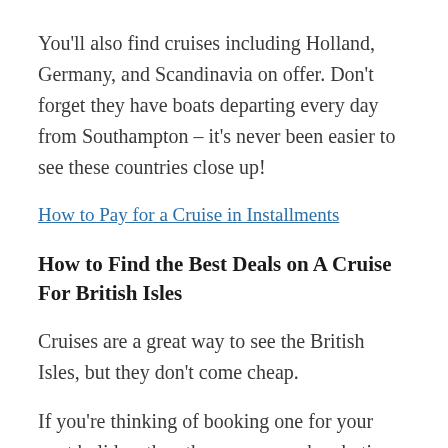You'll also find cruises including Holland, Germany, and Scandinavia on offer. Don't forget they have boats departing every day from Southampton – it's never been easier to see these countries close up!
How to Pay for a Cruise in Installments
How to Find the Best Deals on A Cruise For British Isles
Cruises are a great way to see the British Isles, but they don't come cheap.
If you're thinking of booking one for your next holiday, then there are some handy tips and tricks that can help you find the best deal on cruises in